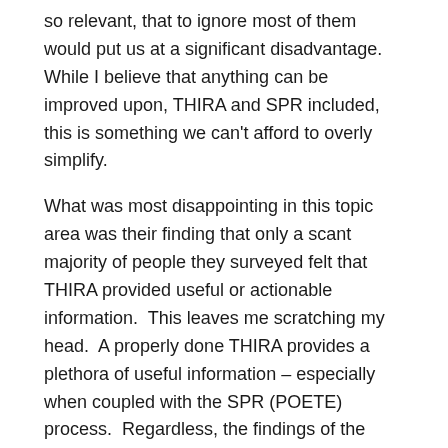so relevant, that to ignore most of them would put us at a significant disadvantage.  While I believe that anything can be improved upon, THIRA and SPR included, this is something we can't afford to overly simplify.
What was most disappointing in this topic area was their finding that only a scant majority of people they surveyed felt that THIRA provided useful or actionable information.  This leaves me scratching my head.  A properly done THIRA provides a plethora of useful information – especially when coupled with the SPR (POETE) process.  Regardless, the findings of the authors suggest that we need to take another look at THIRA and SPR to see what can be improved upon, both in process and result.
Moving forward with the discussion of THIRA and...